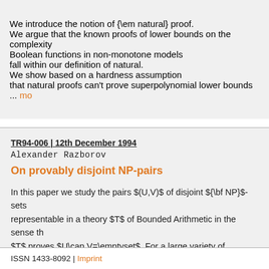We introduce the notion of {\em natural} proof. We argue that the known proofs of lower bounds on the complexity Boolean functions in non-monotone models fall within our definition of natural. We show based on a hardness assumption that natural proofs can't prove superpolynomial lower bounds ... mo
TR94-006 | 12th December 1994
Alexander Razborov
On provably disjoint NP-pairs
In this paper we study the pairs $(U,V)$ of disjoint ${\bf NP}$-sets representable in a theory $T$ of Bounded Arithmetic in the sense th $T$ proves $U\cap V=\emptyset$. For a large variety of theories $T we exhibit a natural disjoint ${\bf NP}$-pair which is complete for the class of disjoint ... more >>>
ISSN 1433-8092 | Imprint